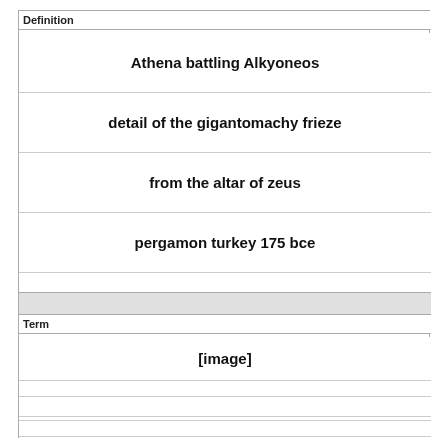Definition
Athena battling Alkyoneos
detail of the gigantomachy frieze
from the altar of zeus
pergamon turkey 175 bce
Term
[Figure (other): [image]]